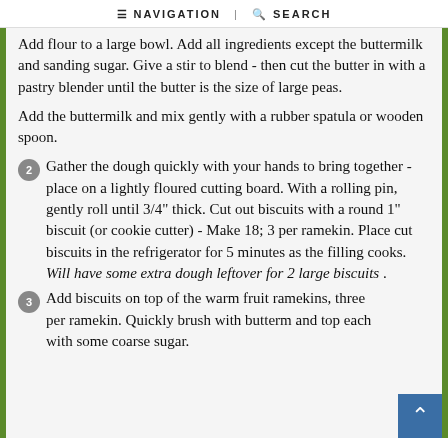≡ NAVIGATION | 🔍 SEARCH
Add flour to a large bowl. Add all ingredients except the buttermilk and sanding sugar. Give a stir to blend - then cut the butter in with a pastry blender until the butter is the size of large peas.

Add the buttermilk and mix gently with a rubber spatula or wooden spoon.
2. Gather the dough quickly with your hands to bring together - place on a lightly floured cutting board. With a rolling pin, gently roll until 3/4" thick. Cut out biscuits with a round 1" biscuit (or cookie cutter) - Make 18; 3 per ramekin. Place cut biscuits in the refrigerator for 5 minutes as the filling cooks. Will have some extra dough leftover for 2 large biscuits .
3. Add biscuits on top of the warm fruit ramekins, three per ramekin. Quickly brush with buttermilk and top each with some coarse sugar.